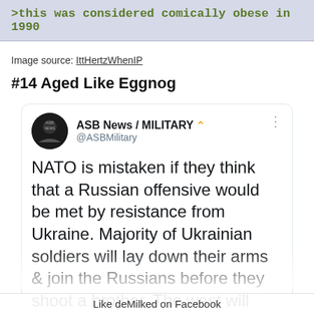[Figure (screenshot): Top banner with green text on light blue/lavender background reading '>this was considered comically obese in 1990']
Image source: IttHertzWhenIP
#14 Aged Like Eggnog
[Figure (screenshot): Tweet from ASB News / MILITARY (@ASBMilitary): NATO is mistaken if they think that a Russian offensive would be met by resistance from Ukraine. Majority of Ukrainian soldiers will lay down their arms & join the Russians before they shoot a brother. The west will never understand the cultural link between Russians & Uk...]
Like deMilked on Facebook